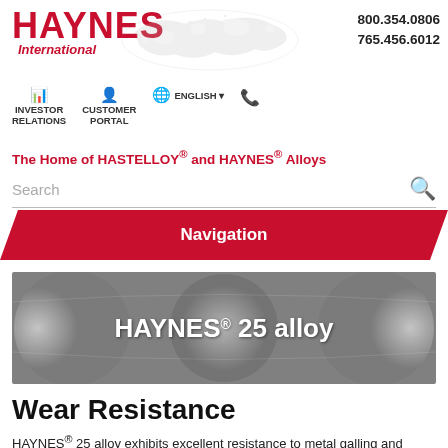HAYNES International — INVESTOR RELATIONS | CUSTOMER PORTAL | ENGLISH | 800.354.0806 | 765.456.6012
The Home of HASTELLOY® and HAYNES® Alloys
Search
Navigation
[Figure (photo): Hero image of metallic alloy surface with text: HAYNES® 25 alloy]
Wear Resistance
HAYNES® 25 alloy exhibits excellent resistance to metal galling and cavitation. Metal-to-Metal Galling results